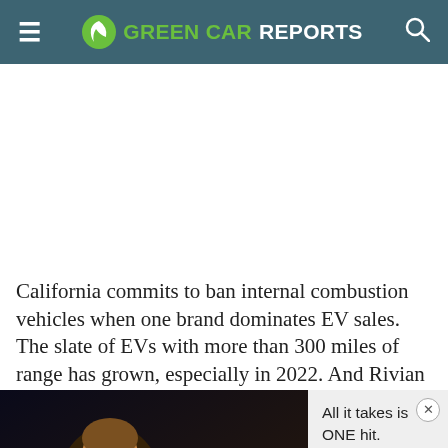GREEN CAR REPORTS
California commits to ban internal combustion vehicles when one brand dominates EV sales. The slate of EVs with more than 300 miles of range has grown, especially in 2022. And Rivian will help level
[Figure (screenshot): Video game advertisement showing an animated warrior character with a play button overlay]
All it takes is ONE hit.